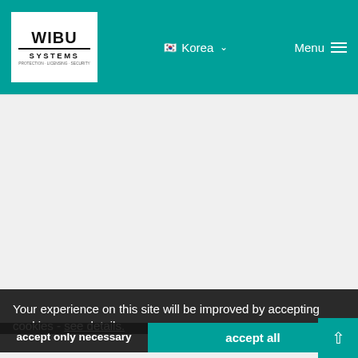WIBU SYSTEMS | Korea | Menu
A Commitment to Business Continuity
Rüdiger Kügler
No CodeMeter dongle shortage in Karlsruhe, now or in the foreseeable future, despite the global supply chain crisis.
E-commerce and Entitlement Management
Terry Gaul
With legal and licensing factors coming into play, selling software online can be a bit trickier than selling physical
Your experience on this site will be improved by accepting cookies - see details.
accept only necessary
accept all